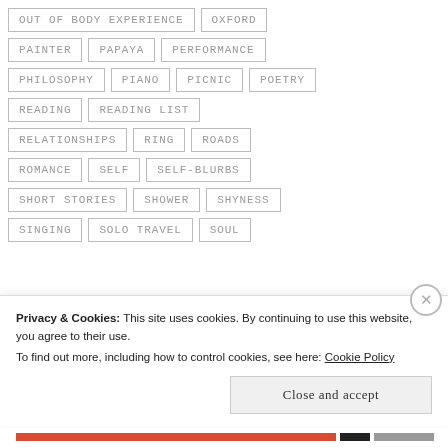OUT OF BODY EXPERIENCE
OXFORD
PAINTER
PAPAYA
PERFORMANCE
PHILOSOPHY
PIANO
PICNIC
POETRY
READING
READING LIST
RELATIONSHIPS
RING
ROADS
ROMANCE
SELF
SELF-BLURBS
SHORT STORIES
SHOWER
SHYNESS
SINGING
SOLO TRAVEL
SOUL
Privacy & Cookies: This site uses cookies. By continuing to use this website, you agree to their use.
To find out more, including how to control cookies, see here: Cookie Policy
Close and accept